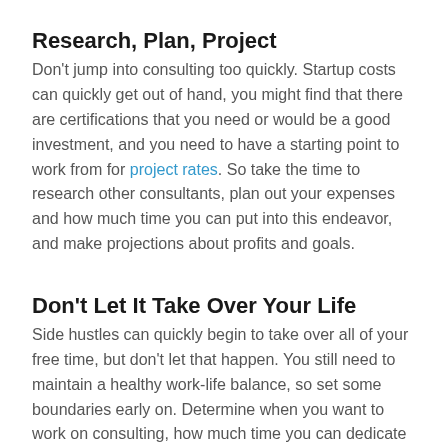Research, Plan, Project
Don't jump into consulting too quickly. Startup costs can quickly get out of hand, you might find that there are certifications that you need or would be a good investment, and you need to have a starting point to work from for project rates. So take the time to research other consultants, plan out your expenses and how much time you can put into this endeavor, and make projections about profits and goals.
Don't Let It Take Over Your Life
Side hustles can quickly begin to take over all of your free time, but don't let that happen. You still need to maintain a healthy work-life balance, so set some boundaries early on. Determine when you want to work on consulting, how much time you can dedicate to it every week, and make sure you're able to set aside emails and communications when